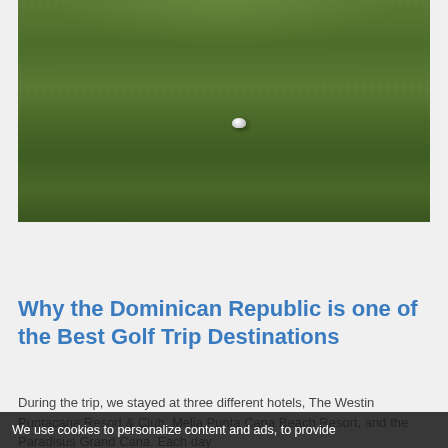[Figure (photo): Aerial or ground-level view of a golf course green, showing lush dark green grass with a golf ball visible near the center of the frame.]
Why the Dominican Republic is one of the Best Golf Trip Destinations
During the trip, we stayed at three different hotels, The Westin Puntacana Resort & Club, Melia Punta Cana Beach Resort, and the Paradisus Grand Cana. Each day
We use cookies to personalize content and ads, to provide